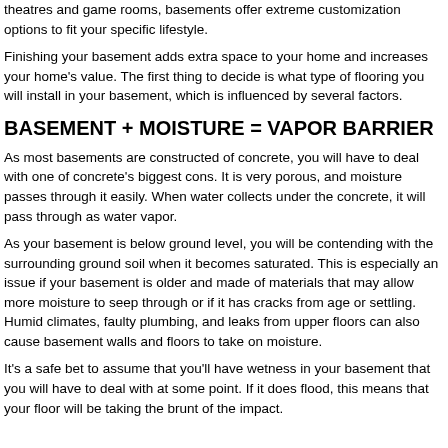theatres and game rooms, basements offer extreme customization options to fit your specific lifestyle.
Finishing your basement adds extra space to your home and increases your home's value. The first thing to decide is what type of flooring you will install in your basement, which is influenced by several factors.
BASEMENT + MOISTURE = VAPOR BARRIER
As most basements are constructed of concrete, you will have to deal with one of concrete's biggest cons. It is very porous, and moisture passes through it easily. When water collects under the concrete, it will pass through as water vapor.
As your basement is below ground level, you will be contending with the surrounding ground soil when it becomes saturated. This is especially an issue if your basement is older and made of materials that may allow more moisture to seep through or if it has cracks from age or settling. Humid climates, faulty plumbing, and leaks from upper floors can also cause basement walls and floors to take on moisture.
It's a safe bet to assume that you'll have wetness in your basement that you will have to deal with at some point. If it does flood, this means that your floor will be taking the brunt of the impact.